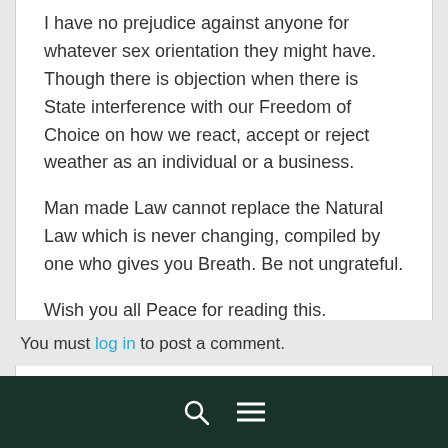I have no prejudice against anyone for whatever sex orientation they might have. Though there is objection when there is State interference with our Freedom of Choice on how we react, accept or reject weather as an individual or a business.
Man made Law cannot replace the Natural Law which is never changing, compiled by one who gives you Breath. Be not ungrateful.
Wish you all Peace for reading this.
Loading...
Log in to Reply
You must log in to post a comment.
search menu icons